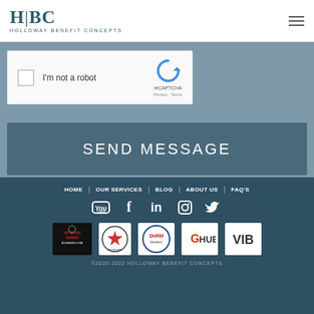HBC Holloway Benefit Concepts
[Figure (screenshot): reCAPTCHA widget with checkbox 'I'm not a robot' and reCAPTCHA logo]
SEND MESSAGE
HOME | OUR SERVICES | BLOG | ABOUT US | FAQ'S
[Figure (infographic): Social media icons: YouTube, Facebook, LinkedIn, Instagram, Twitter]
[Figure (infographic): Partner/certification badge logos: Veteran Owned Business, Veteran (star), SHRM, HUB, VIB]
©2020-2022 HOLLOWAY BENEFIT CONCEPTS